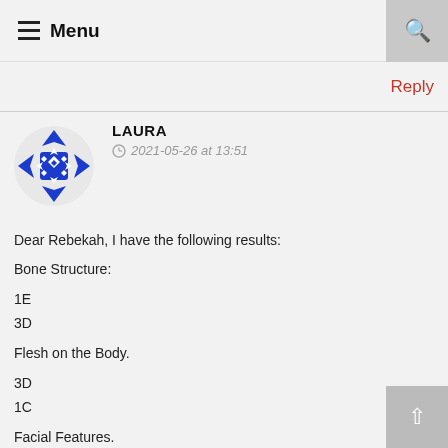☰ Menu
Reply
LAURA
2021-05-26 at 13:51

Dear Rebekah, I have the following results:

Bone Structure:

1E

3D

Flesh on the Body.

3D

1C

Facial Features.